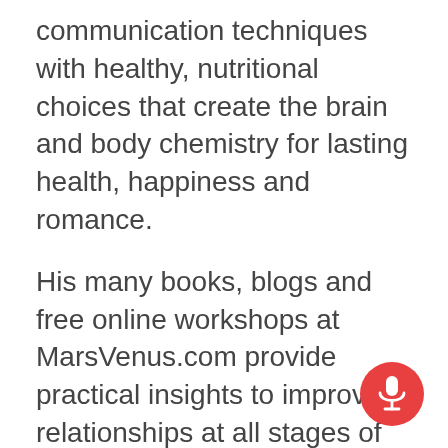communication techniques with healthy, nutritional choices that create the brain and body chemistry for lasting health, happiness and romance.
His many books, blogs and free online workshops at MarsVenus.com provide practical insights to improve relationships at all stages of life and love. An advocate of health and optimal brain function, he also provides natural solutions for overcoming depression, anxiety and stress to support increased energy, libido, hormonal balance and better sleep.
He has appeared repeatedly on Oprah, as well as on The Dr. Oz Show, TODAY, CBS This Morning, Good Morning America, and others.
[Figure (other): Red circular microphone button icon]